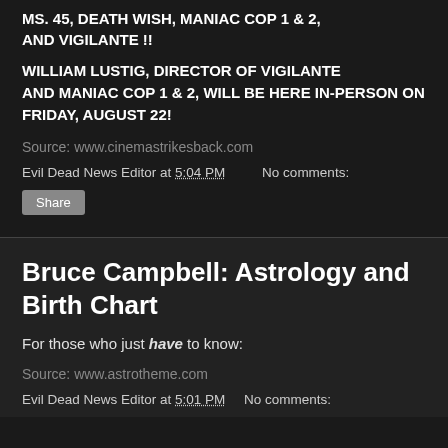MS. 45, DEATH WISH, MANIAC COP 1 & 2, AND VIGILANTE !!
WILLIAM LUSTIG, DIRECTOR OF VIGILANTE AND MANIAC COP 1 & 2, WILL BE HERE IN-PERSON ON FRIDAY, AUGUST 22!
Source: www.cinemastrikesback.com
Evil Dead News Editor at 5:04 PM    No comments:
Share
Bruce Campbell: Astrology and Birth Chart
For those who just have to know:
Source: www.astrotheme.com
Evil Dead News Editor at 5:01 PM    No comments: